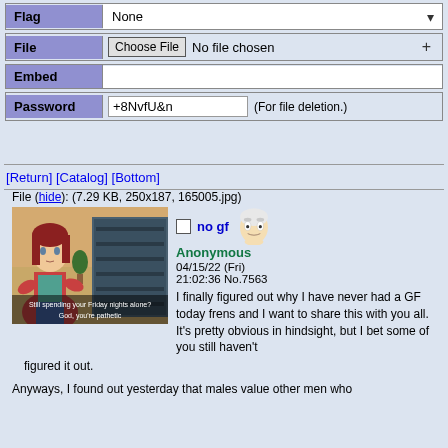| Flag | File | Embed | Password |
| --- | --- | --- | --- |
| None |  |  |  |
|  | Choose File  No file chosen  + |  |  |
|  |  |  |  |
|  |  | +8NvfU&n | (For file deletion.) |
[Return] [Catalog] [Bottom]
File (hide): (7.29 KB, 250x187, 165005.jpg)
[Figure (screenshot): Anime girl with red hair and a red vest, subtitle text: 'Still spending your Friday nights alone? God, you're pathetic']
no gf
Anonymous
04/15/22 (Fri) 21:02:36 No.7563

I finally figured out why I have never had a GF today frens and I want to share this with you all. It's pretty obvious in hindsight, but I bet some of you still haven't figured it out.
Anyways, I found out yesterday that males value other men who